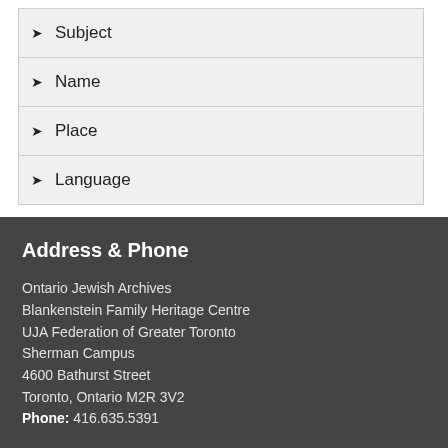Subject
Name
Place
Language
Address & Phone
Ontario Jewish Archives
Blankenstein Family Heritage Centre
UJA Federation of Greater Toronto
Sherman Campus
4600 Bathurst Street
Toronto, Ontario M2R 3V2
Phone: 416.635.5391